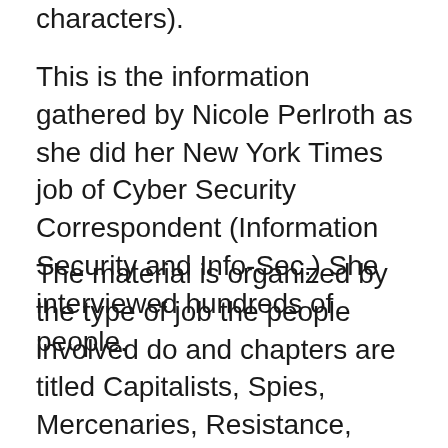characters).
This is the information gathered by Nicole Perlroth as she did her New York Times job of Cyber Security Correspondent (Information Security and Info-Sec.) She interviewed hundreds of people.
The material is organized by the type of job the people involved do and chapters are titled Capitalists, Spies, Mercenaries, Resistance, Twister (I don’t know) and Boomerang. Overall there’s a certain chronological flow to it but Perlroth doesn’t stick to that,  she goes about her topics naturally.